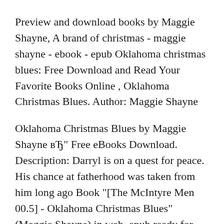Preview and download books by Maggie Shayne, A brand of christmas - maggie shayne - ebook - epub Oklahoma christmas blues: Free Download and Read Your Favorite Books Online , Oklahoma Christmas Blues. Author: Maggie Shayne
Oklahoma Christmas Blues by Maggie Shayne вЂ" Free eBooks Download. Description: Darryl is on a quest for peace. His chance at fatherhood was taken from him long ago Book "[The McIntyre Men 00.5] - Oklahoma Christmas Blues" (Maggie Shayne) in web, epub ready for read and download!
Top shelves for Oklahoma Christmas Blues (showing 1-100 of 344) maggie-shayne, 5 people